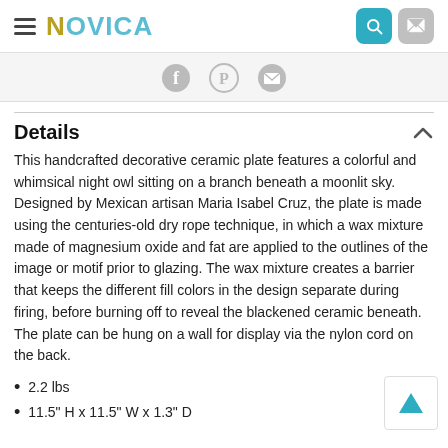NOVICA
[Figure (illustration): Social sharing icons: Facebook, Pinterest, Email]
Details
This handcrafted decorative ceramic plate features a colorful and whimsical night owl sitting on a branch beneath a moonlit sky. Designed by Mexican artisan Maria Isabel Cruz, the plate is made using the centuries-old dry rope technique, in which a wax mixture made of magnesium oxide and fat are applied to the outlines of the image or motif prior to glazing. The wax mixture creates a barrier that keeps the different fill colors in the design separate during firing, before burning off to reveal the blackened ceramic beneath. The plate can be hung on a wall for display via the nylon cord on the back.
2.2 lbs
11.5" H x 11.5" W x 1.3" D